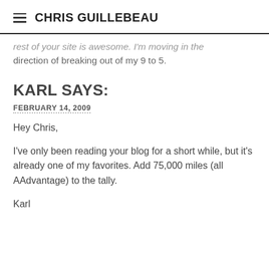CHRIS GUILLEBEAU
rest of your site is awesome. I'm moving in the direction of breaking out of my 9 to 5.
KARL SAYS:
FEBRUARY 14, 2009
Hey Chris,

I've only been reading your blog for a short while, but it's already one of my favorites. Add 75,000 miles (all AAdvantage) to the tally.

Karl